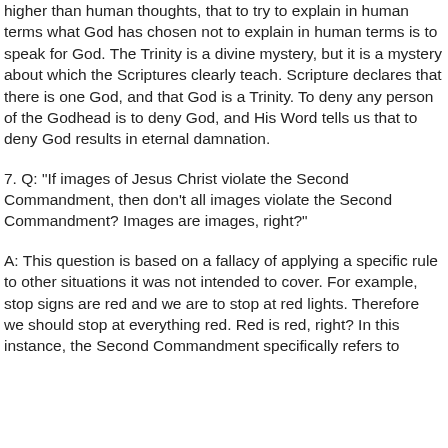higher than human thoughts, that to try to explain in human terms what God has chosen not to explain in human terms is to speak for God. The Trinity is a divine mystery, but it is a mystery about which the Scriptures clearly teach. Scripture declares that there is one God, and that God is a Trinity. To deny any person of the Godhead is to deny God, and His Word tells us that to deny God results in eternal damnation.
7. Q: "If images of Jesus Christ violate the Second Commandment, then don't all images violate the Second Commandment? Images are images, right?"
A: This question is based on a fallacy of applying a specific rule to other situations it was not intended to cover. For example, stop signs are red and we are to stop at red lights. Therefore we should stop at everything red. Red is red, right? In this instance, the Second Commandment specifically refers to